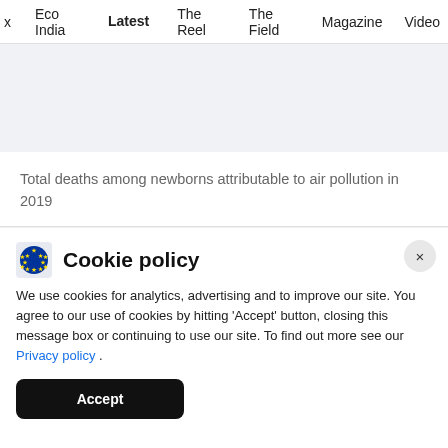x  Eco India  Latest  The Reel  The Field  Magazine  Video
[Figure (other): Light gray placeholder area, likely an advertisement or image]
Total deaths among newborns attributable to air pollution in 2019
Cookie policy
We use cookies for analytics, advertising and to improve our site. You agree to our use of cookies by hitting 'Accept' button, closing this message box or continuing to use our site. To find out more see our Privacy policy .
Accept